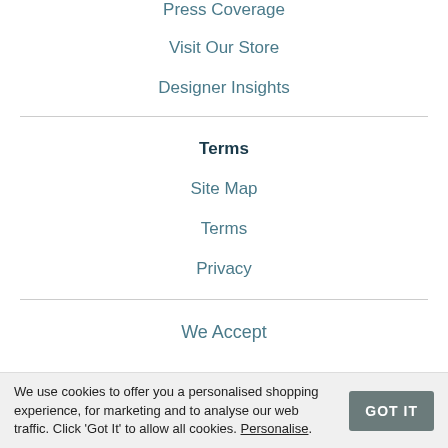Press Coverage
Visit Our Store
Designer Insights
Terms
Site Map
Terms
Privacy
We Accept
[Figure (logo): Payment logos: VISA, PayPal, amazon pay]
We use cookies to offer you a personalised shopping experience, for marketing and to analyse our web traffic. Click ‘Got It’ to allow all cookies. Personalise.